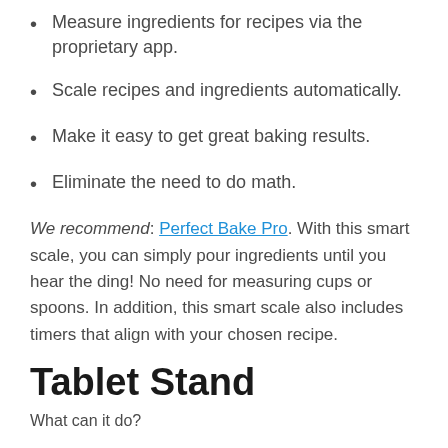Measure ingredients for recipes via the proprietary app.
Scale recipes and ingredients automatically.
Make it easy to get great baking results.
Eliminate the need to do math.
We recommend: Perfect Bake Pro. With this smart scale, you can simply pour ingredients until you hear the ding! No need for measuring cups or spoons. In addition, this smart scale also includes timers that align with your chosen recipe.
Tablet Stand
What can it do?